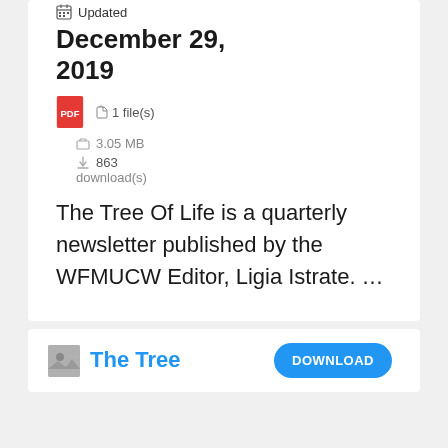Updated December 29, 2019
1 file(s)
3.05 MB
863 download(s)
The Tree Of Life is a quarterly newsletter published by the WFMUCW Editor, Ligia Istrate. ...
The Tree